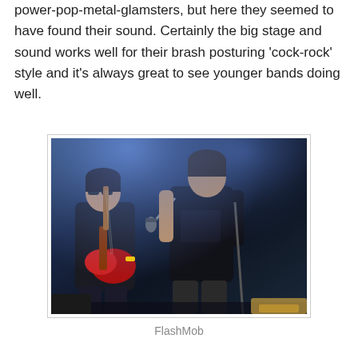hadn't been too impressed by this bunch of young power-pop-metal-glamsters, but here they seemed to have found their sound. Certainly the big stage and sound works well for their brash posturing 'cock-rock' style and it's always great to see younger bands doing well.
[Figure (photo): Two young male musicians performing on stage. Left figure plays a red electric guitar and wears sunglasses and a dark jacket. Right figure holds a microphone, wearing a dark t-shirt, leaning toward the guitarist. Stage has blue/purple lighting in the background.]
FlashMob